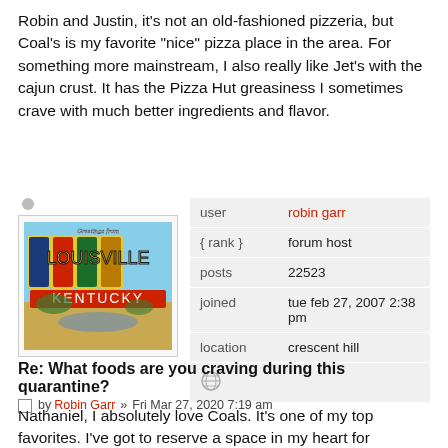Robin and Justin, it's not an old-fashioned pizzeria, but Coal's is my favorite "nice" pizza place in the area. For something more mainstream, I also really like Jet's with the cajun crust. It has the Pizza Hut greasiness I sometimes crave with much better ingredients and flavor.
[Figure (other): Avatar photo of a vintage-style postcard reading 'Greetings from Louisville, Kentucky']
| field | value |
| --- | --- |
| user | robin garr |
| { rank } | forum host |
| posts | 22523 |
| joined | tue feb 27, 2007 2:38 pm |
| location | crescent hill |
|  | globe icon |
Re: What foods are you craving during this quarantine?
by Robin Garr » Fri Mar 27, 2020 7:19 am
Nathaniel, I absolutely love Coals. It's one of my top favorites. I've got to reserve a space in my heart for Mozzapi, though. Far out in the East End, past Anchorage, but worth the trip for wood ovens, intense